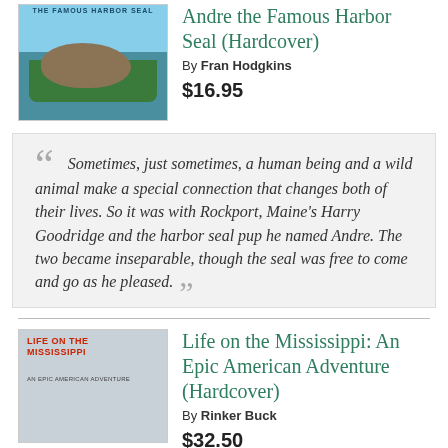[Figure (illustration): Book cover for Andre the Famous Harbor Seal showing a seal in a green boat on water]
Andre the Famous Harbor Seal (Hardcover)
By Fran Hodgkins
$16.95
Sometimes, just sometimes, a human being and a wild animal make a special connection that changes both of their lives. So it was with Rockport, Maine's Harry Goodridge and the harbor seal pup he named Andre. The two became inseparable, though the seal was free to come and go as he pleased.
[Figure (illustration): Book cover for Life on the Mississippi: An Epic American Adventure showing a dock scene]
Life on the Mississippi: An Epic American Adventure (Hardcover)
By Rinker Buck
$32.50